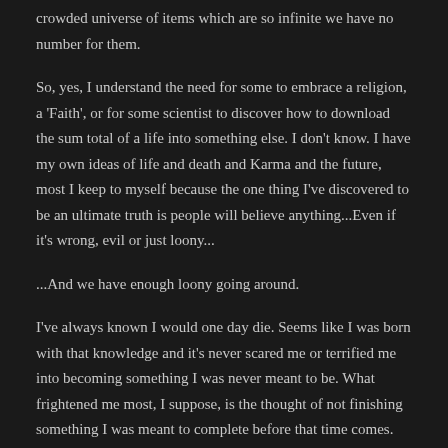crowded universe of items which are so infinite we have no number for them.
So, yes, I understand the need for some to embrace a religion, a 'Faith', or for some scientist to discover how to download the sum total of a life into something else. I don't know. I have my own ideas of life and death and Karma and the future, most I keep to myself because the one thing I've discovered to be an ultimate truth is people will believe anything...Even if it's wrong, evil or just loony...
...And we have enough loony going around.
I've always known I would one day die. Seems like I was born with that knowledge and it's never scared me or terrified me into becoming something I was never meant to be. What frightened me most, I suppose, is the thought of not finishing something I was meant to complete before that time comes. I've watched far too many people die up close and personal, some friends, some family, some just unfortunate's who found themselves along side me and others...